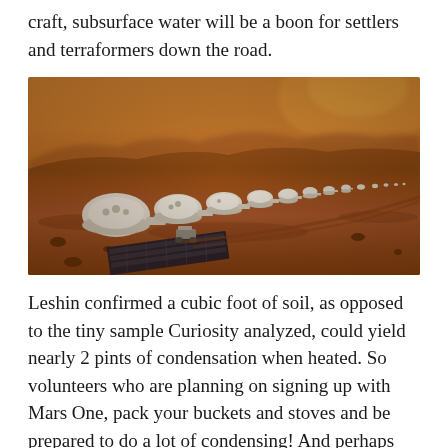craft, subsurface water will be a boon for settlers and terraformers down the road.
[Figure (photo): Aerial concept art illustration of a Mars colony showing a row of white dome-shaped habitat modules stretching into the distance across a red/brown Martian landscape under a hazy orange sky, with solar panels and a rover visible in the foreground.]
Leshin confirmed a cubic foot of soil, as opposed to the tiny sample Curiosity analyzed, could yield nearly 2 pints of condensation when heated. So volunteers who are planning on signing up with Mars One, pack your buckets and stoves and be prepared to do a lot of condensing! And perhaps